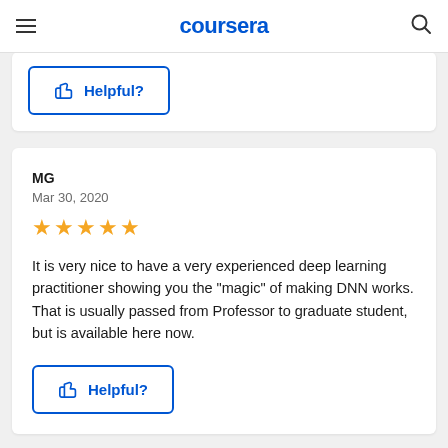coursera
Helpful?
MG
Mar 30, 2020
★★★★★
It is very nice to have a very experienced deep learning practitioner showing you the "magic" of making DNN works. That is usually passed from Professor to graduate student, but is available here now.
Helpful?